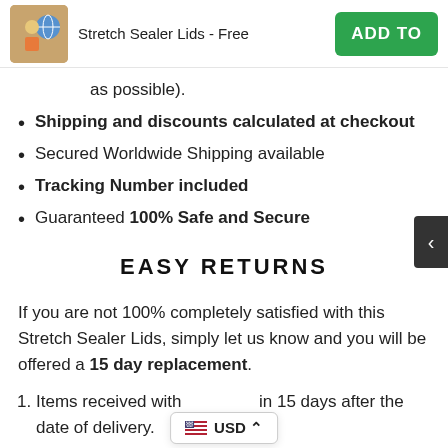Stretch Sealer Lids - Free | ADD TO
as possible).
Shipping and discounts calculated at checkout
Secured Worldwide Shipping available
Tracking Number included
Guaranteed 100% Safe and Secure
EASY RETURNS
If you are not 100% completely satisfied with this Stretch Sealer Lids, simply let us know and you will be offered a 15 day replacement.
Items received within 15 days after the date of delivery.
USD